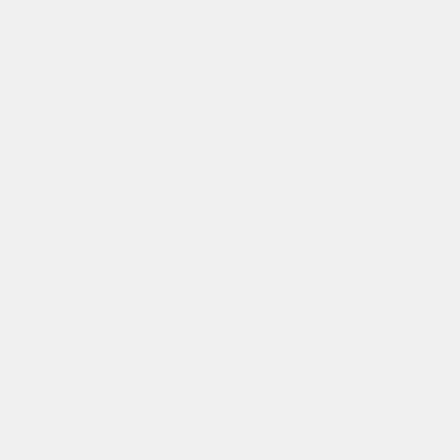I do believe we all have the responsibility to investigate all evidence and find the truth. The video shows the impact of the F4